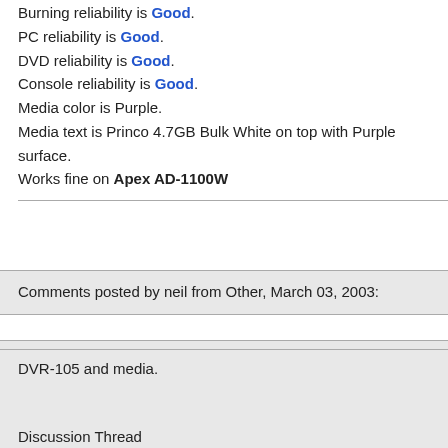Burning reliability is Good. PC reliability is Good. DVD reliability is Good. Console reliability is Good. Media color is Purple. Media text is Princo 4.7GB Bulk White on top with Purple surface. Works fine on Apex AD-1100W
Comments posted by neil from Other, March 03, 2003:
DVR-105 and media.
Discussion Thread
----------------------------------------------------------------
Response (Customer Relations) - 03/03/2003 04:42 PM
Hi i have recently purchesed 3x 105 drives, but have come dvdr media i am getting unsupported problems with BULL